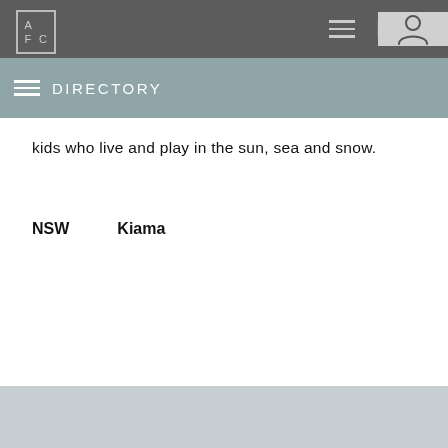AFC | ≡ | user icon
DIRECTORY
kids who live and play in the sun, sea and snow.
NSW      Kiama